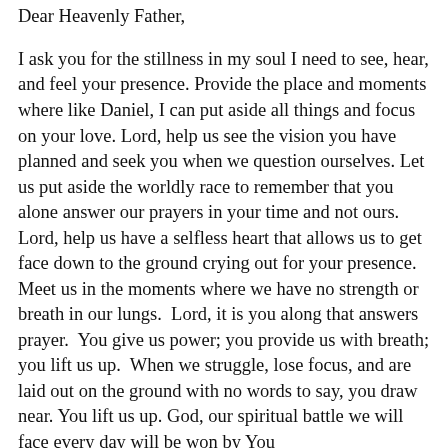Dear Heavenly Father,
I ask you for the stillness in my soul I need to see, hear, and feel your presence. Provide the place and moments where like Daniel, I can put aside all things and focus on your love. Lord, help us see the vision you have planned and seek you when we question ourselves. Let us put aside the worldly race to remember that you alone answer our prayers in your time and not ours. Lord, help us have a selfless heart that allows us to get face down to the ground crying out for your presence.  Meet us in the moments where we have no strength or breath in our lungs.  Lord, it is you along that answers prayer.  You give us power; you provide us with breath; you lift us up.  When we struggle, lose focus, and are laid out on the ground with no words to say, you draw near. You lift us up. God, our spiritual battle we will face every day will be won by You